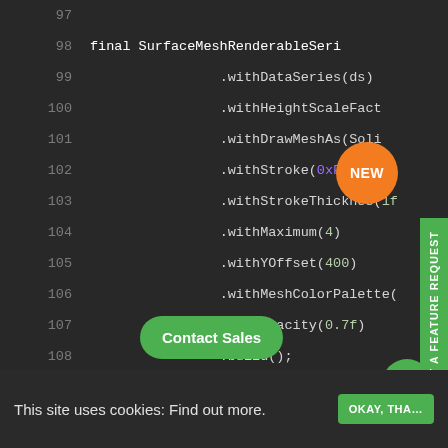[Figure (screenshot): Code editor screenshot showing Java/Kotlin builder pattern code, lines 97-115, with a dark theme. Overlays include a NEW badge, Submit a Feature Request side tab, Contact Sales button, chat icon, and cookie consent bar.]